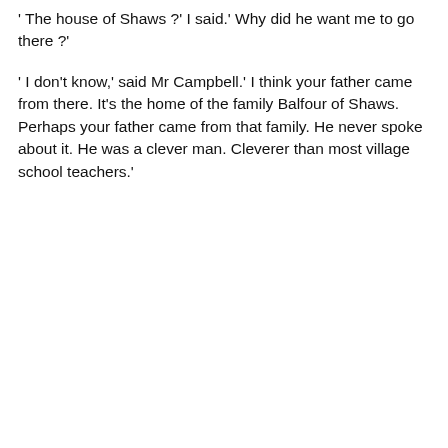' The house of Shaws ?' I said.' Why did he want me to go there ?'
' I don't know,' said Mr Campbell.' I think your father came from there. It's the home of the family Balfour of Shaws. Perhaps your father came from that family. He never spoke about it. He was a clever man. Cleverer than most village school teachers.'